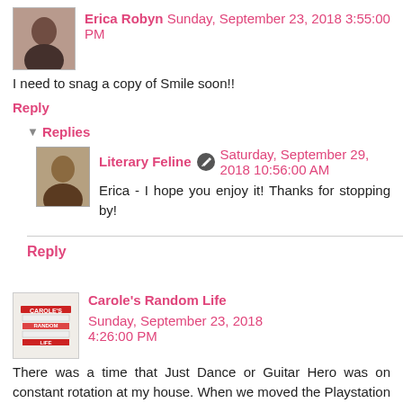[Figure (photo): Profile photo of Erica Robyn, woman with dark hair]
Erica Robyn Sunday, September 23, 2018 3:55:00 PM
I need to snag a copy of Smile soon!!
Reply
Replies
[Figure (photo): Profile photo of Literary Feline, animal photo]
Literary Feline Saturday, September 29, 2018 10:56:00 AM
Erica - I hope you enjoy it! Thanks for stopping by!
Reply
[Figure (logo): Carole's Random Life book stack logo]
Carole's Random Life Sunday, September 23, 2018 4:26:00 PM
There was a time that Just Dance or Guitar Hero was on constant rotation at my house. When we moved the Playstation to the basement, we quit using it like we once did. I do kind of regret that decision. Mouse is a very busy girl and it sounds like she has great taste in books. I love